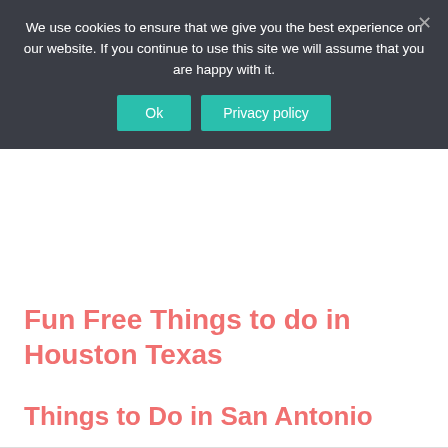We use cookies to ensure that we give you the best experience on our website. If you continue to use this site we will assume that you are happy with it.
Ok | Privacy policy
Fun Free Things to do in Houston Texas
Things to Do in San Antonio